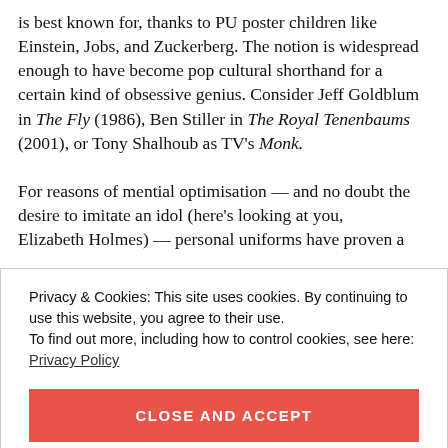is best known for, thanks to PU poster children like Einstein, Jobs, and Zuckerberg. The notion is widespread enough to have become pop cultural shorthand for a certain kind of obsessive genius. Consider Jeff Goldblum in The Fly (1986), Ben Stiller in The Royal Tenenbaums (2001), or Tony Shalhoub as TV's Monk.
For reasons of mential optimisation — and no doubt the desire to imitate an idol (here's looking at you, Elizabeth Holmes) — personal uniforms have proven a
Privacy & Cookies: This site uses cookies. By continuing to use this website, you agree to their use.
To find out more, including how to control cookies, see here:
Privacy Policy
CLOSE AND ACCEPT